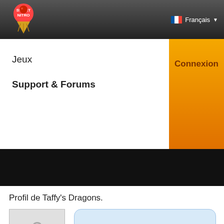Sweet Nitro — Français
Jeux
Support & Forums
Connexion
Profil de Taffy's Dragons.
Taffy's Dragons.
Membre
Retrouvez Taffy's Dragons. sur les jeux Sweet Nitro
FOOTBALL CHAMPIONS